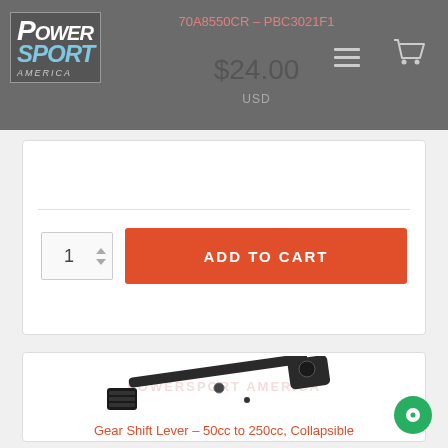Power Sport America - 70A8550CR - PBC3021F1 - $24.00 USD
$24.00
USD
ADD TO CART
[Figure (photo): Gear shift lever part - black metal collapsible lever, 50cc to 250cc]
Gear Shift Lever - 50cc to 250cc, Collapsible